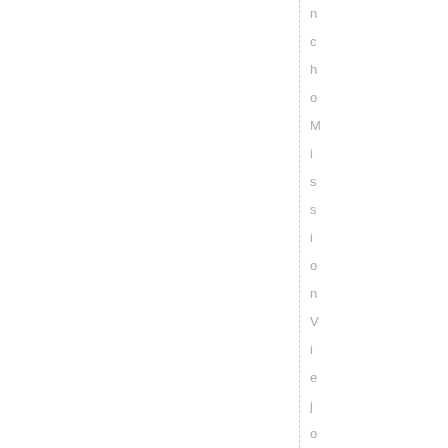nchoMissionViejoSanCleme
SanCleme